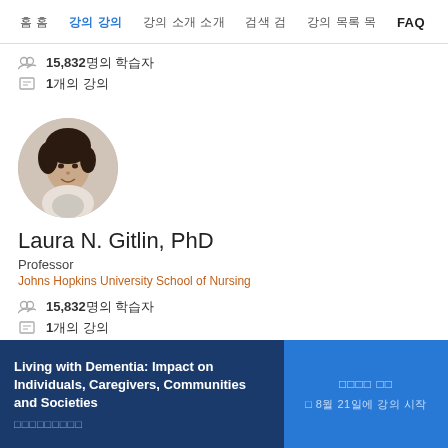홈  강의  강의 소개  검색  강의 목록  FAQ
15,832명의 학습자
1개의 강의
[Figure (photo): Circular profile photo of Laura N. Gitlin, PhD - a woman with dark hair and a light scarf]
Laura N. Gitlin, PhD
Professor
Johns Hopkins University School of Nursing
15,832명의 학습자
1개의 강의
Living with Dementia: Impact on Individuals, Caregivers, Communities and Societies
무료로수강하기
• 8월 21일에 강의 시작